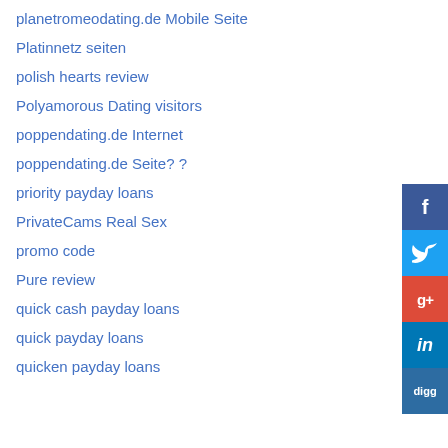planetromeodating.de Mobile Seite
Platinnetz seiten
polish hearts review
Polyamorous Dating visitors
poppendating.de Internet
poppendating.de Seite? ?
priority payday loans
PrivateCams Real Sex
promo code
Pure review
quick cash payday loans
quick payday loans
quicken payday loans
[Figure (infographic): Social media sharing sidebar with Facebook, Twitter, Google+, LinkedIn, and Digg buttons]